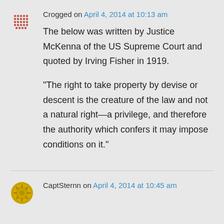Crogged on April 4, 2014 at 10:13 am
The below was written by Justice McKenna of the US Supreme Court and quoted by Irving Fisher in 1919.
“The right to take property by devise or descent is the creature of the law and not a natural right—a privilege, and therefore the authority which confers it may impose conditions on it.”
CaptSternn on April 4, 2014 at 10:45 am